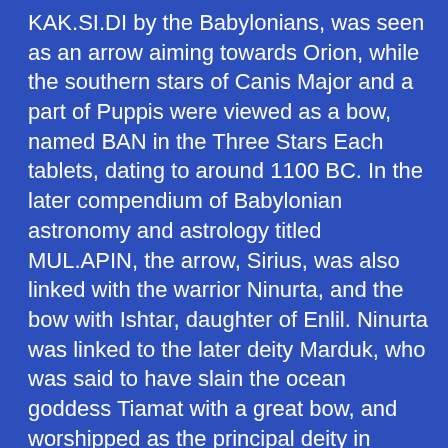KAK.SI.DI by the Babylonians, was seen as an arrow aiming towards Orion, while the southern stars of Canis Major and a part of Puppis were viewed as a bow, named BAN in the Three Stars Each tablets, dating to around 1100 BC. In the later compendium of Babylonian astronomy and astrology titled MUL.APIN, the arrow, Sirius, was also linked with the warrior Ninurta, and the bow with Ishtar, daughter of Enlil. Ninurta was linked to the later deity Marduk, who was said to have slain the ocean goddess Tiamat with a great bow, and worshipped as the principal deity in Babylon. The Ancient Greeks replaced the bow and arrow depiction with that of a dog.
In Greek Mythology, Canis Major represented